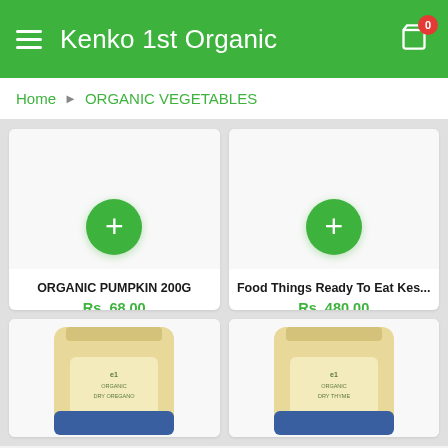Kenko 1st Organic
Home > ORGANIC VEGETABLES
[Figure (screenshot): Product card: ORGANIC PUMPKIN 200G with green plus button, price Rs. 68.00]
[Figure (screenshot): Product card: Food Things Ready To Eat Kes... with green plus button, price Rs. 480.00]
[Figure (photo): Product card showing a kraft paper bag labeled ORGANIC DRY OREGANO]
[Figure (photo): Product card showing a kraft paper bag labeled ORGANIC DRY THYME]